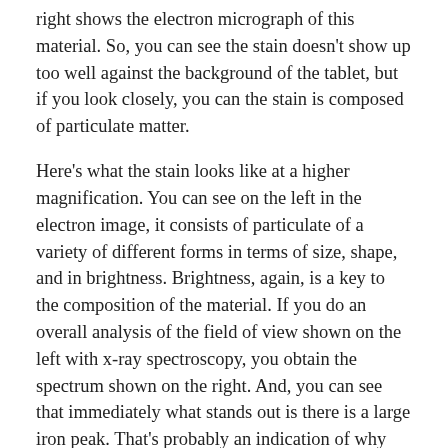right shows the electron micrograph of this material. So, you can see the stain doesn't show up too well against the background of the tablet, but if you look closely, you can the stain is composed of particulate matter.
Here's what the stain looks like at a higher magnification. You can see on the left in the electron image, it consists of particulate of a variety of different forms in terms of size, shape, and in brightness. Brightness, again, is a key to the composition of the material. If you do an overall analysis of the field of view shown on the left with x-ray spectroscopy, you obtain the spectrum shown on the right. And, you can see that immediately what stands out is there is a large iron peak. That's probably an indication of why the stain is discolored; it's brown, most iron materials/iron compounds are brown. But really, this isn't the particle approach. We're analyzing this whole stain and so the other components, we don't know the relationship. Are some of these elements associated with other elements? Which elements are coming from the tablet